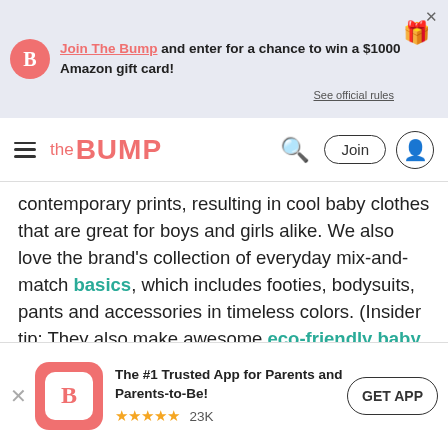Join The Bump and enter for a chance to win a $1000 Amazon gift card! See official rules
the BUMP — navigation bar with search, Join, and user icon
contemporary prints, resulting in cool baby clothes that are great for boys and girls alike. We also love the brand's collection of everyday mix-and-match basics, which includes footies, bodysuits, pants and accessories in timeless colors. (Insider tip: They also make awesome eco-friendly baby toys.)
Shop: FinnandEmma.com
[Figure (other): Pinterest image preview area with Pinterest logo icon]
The #1 Trusted App for Parents and Parents-to-Be! ★★★★★ 23K  GET APP